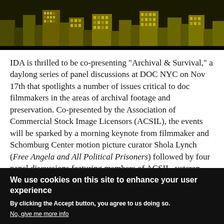[Figure (illustration): Dark golden/olive-toned stylized city skyline silhouette illustration, showing buildings and skyscrapers against a dark background]
IDA is thrilled to be co-presenting "Archival & Survival," a daylong series of panel discussions at DOC NYC on Nov 17th that spotlights a number of issues critical to doc filmmakers in the areas of archival footage and preservation. Co-presented by the Association of Commercial Stock Image Licensors (ACSIL), the events will be sparked by a morning keynote from filmmaker and Schomburg Center motion picture curator Shola Lynch (Free Angela and All Political Prisoners) followed by four panel discussions featuring members of ACSIL, veteran doc filmmakers and other experts in the field.
We use cookies on this site to enhance your user experience
By clicking the Accept button, you agree to us doing so.
No, give me more info